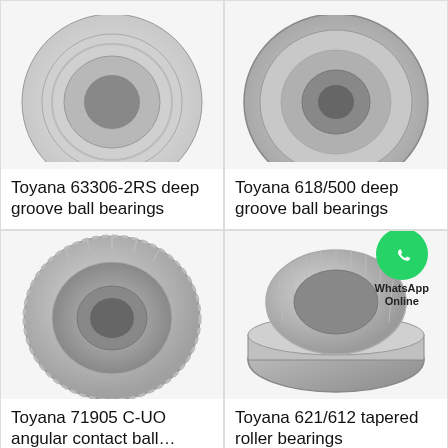[Figure (photo): Toyana 63306-2RS deep groove ball bearing, top-cropped view on white background]
Toyana 63306-2RS deep groove ball bearings
[Figure (photo): Toyana 618/500 deep groove ball bearing, top-cropped view on white background]
Toyana 618/500 deep groove ball bearings
[Figure (photo): Toyana 71905 C-UO angular contact ball bearing, full ring view on white background]
Toyana 71905 C-UO angular contact ball…
[Figure (photo): Toyana 621/612 tapered roller bearing with WhatsApp Online badge overlay]
Toyana 621/612 tapered roller bearings
All Products
Contact Now